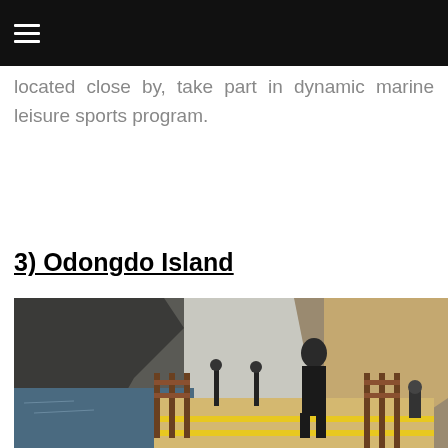≡
located close by, take part in dynamic marine leisure sports program.
3) Odongdo Island
[Figure (photo): A person standing on a wooden boardwalk path along a rocky coastal cliff at Odongdo Island, with ocean visible on the left and tall rocky cliffs on the right.]